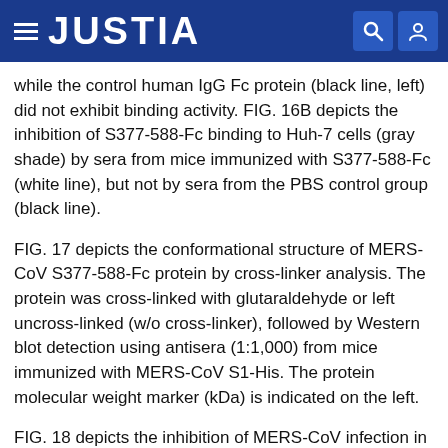JUSTIA
while the control human IgG Fc protein (black line, left) did not exhibit binding activity. FIG. 16B depicts the inhibition of S377-588-Fc binding to Huh-7 cells (gray shade) by sera from mice immunized with S377-588-Fc (white line), but not by sera from the PBS control group (black line).
FIG. 17 depicts the conformational structure of MERS-CoV S377-588-Fc protein by cross-linker analysis. The protein was cross-linked with glutaraldehyde or left uncross-linked (w/o cross-linker), followed by Western blot detection using antisera (1:1,000) from mice immunized with MERS-CoV S1-His. The protein molecular weight marker (kDa) is indicated on the left.
FIG. 18 depicts the inhibition of MERS-CoV infection in Calu-3 cells by MERS-CoV S377-588-Fc protein. Human IgG Fc (hIgG-Fc) was used as the control. The CPE ranged